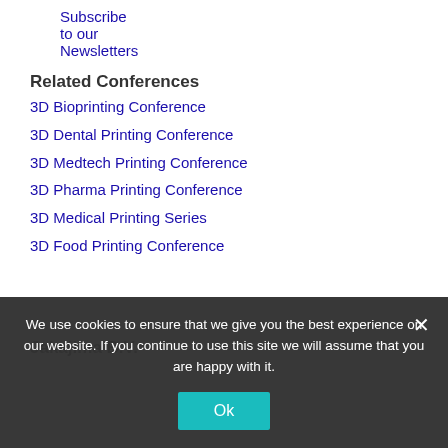Subscribe to our Newsletters
Related Conferences
3D Bioprinting Conference
3D Dental Printing Conference
3D Medtech Printing Conference
3D Pharma Printing Conference
3D Medical Printing Series
3D Food Printing Conference
Jakajima B.V.
We use cookies to ensure that we give you the best experience on our website. If you continue to use this site we will assume that you are happy with it.